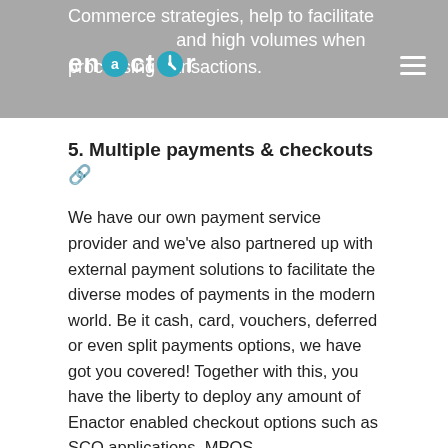Commerce strategies, help to facilitate enactor and high volumes when processing transactions.
5. Multiple payments & checkouts 🔗
We have our own payment service provider and we've also partnered up with external payment solutions to facilitate the diverse modes of payments in the modern world. Be it cash, card, vouchers, deferred or even split payments options, we have got you covered! Together with this, you have the liberty to deploy any amount of Enactor enabled checkout options such as SCO applications, MPOS